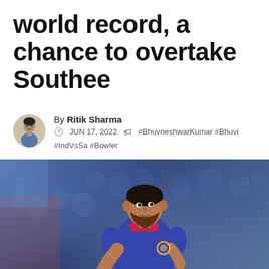world record, a chance to overtake Southee
By Ritik Sharma | JUN 17, 2022 | #BhuvneshwarKumar #Bhuvi #IndVsSa #Bowler
[Figure (photo): Photo of Bhuvneshwar Kumar, Indian cricket player wearing blue India T20 jersey, holding a cricket ball, with blurred crowd in the background]